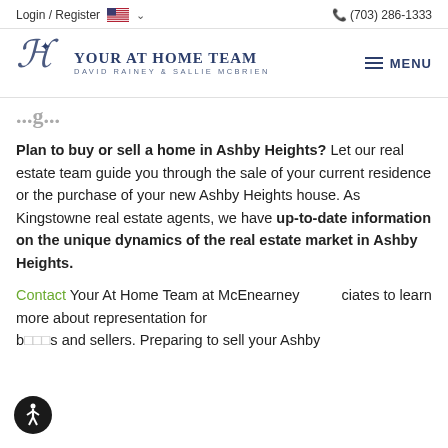Login / Register  🇺🇸 ∨   📞 (703) 286-1333
[Figure (logo): Your At Home Team logo with decorative script and 'YOUR AT HOME TEAM / DAVID RAINEY & SALLIE MCBRIEN' text]
...g...
Plan to buy or sell a home in Ashby Heights? Let our real estate team guide you through the sale of your current residence or the purchase of your new Ashby Heights house. As Kingstowne real estate agents, we have up-to-date information on the unique dynamics of the real estate market in Ashby Heights.
Contact Your At Home Team at McEnearney Associates to learn more about representation for buyers and sellers. Preparing to sell your Ashby